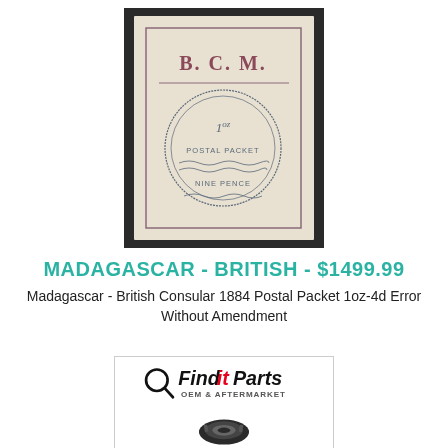[Figure (photo): Antique stamp: B.C.M. British Consular Madagascar 1884 postal packet stamp with circular postmark showing '1oz', 'POSTAL PACKET', 'NINE PENCE']
MADAGASCAR - BRITISH - $1499.99
Madagascar - British Consular 1884 Postal Packet 1oz-4d Error Without Amendment
[Figure (logo): FinditParts OEM & AFTERMARKET logo with a tire image below]